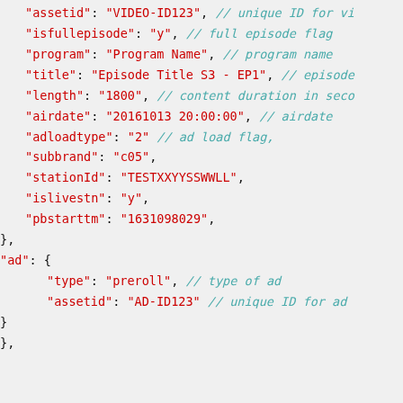"assetid": "VIDEO-ID123", // unique ID for vi
"isfullepisode": "y", // full episode flag
"program": "Program Name", // program name
"title": "Episode Title S3 - EP1", // episode
"length": "1800", // content duration in seco
"airdate": "20161013 20:00:00", // airdate
"adloadtype": "2" // ad load flag,
"subbrand": "c05",
"stationId": "TESTXXYYSSWWLL",
"islivestn": "y",
"pbstarttm": "1631098029",
},
"ad": {
  "type": "preroll", // type of ad
  "assetid": "AD-ID123" // unique ID for ad
}
},